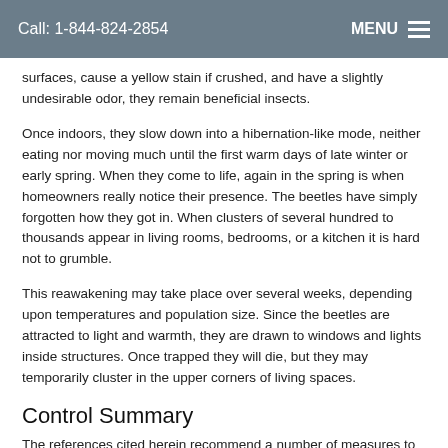Call: 1-844-824-2854    MENU
surfaces, cause a yellow stain if crushed, and have a slightly undesirable odor, they remain beneficial insects.
Once indoors, they slow down into a hibernation-like mode, neither eating nor moving much until the first warm days of late winter or early spring. When they come to life, again in the spring is when homeowners really notice their presence. The beetles have simply forgotten how they got in. When clusters of several hundred to thousands appear in living rooms, bedrooms, or a kitchen it is hard not to grumble.
This reawakening may take place over several weeks, depending upon temperatures and population size. Since the beetles are attracted to light and warmth, they are drawn to windows and lights inside structures. Once trapped they will die, but they may temporarily cluster in the upper corners of living spaces.
Control Summary
The references cited herein recommend a number of measures to aid in controlling Asian lady beetles that invade structures. Major recommendations include but are not limited to:
Educate your customers. Share the above information with them